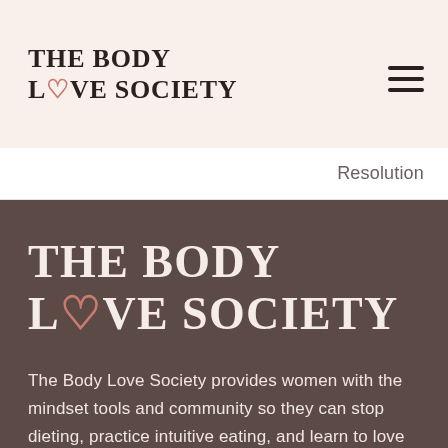THE BODY LOVE SOCIETY
Resolution
THE BODY LOVE SOCIETY
The Body Love Society provides women with the mindset tools and community so they can stop dieting, practice intuitive eating, and learn to love their bodies.